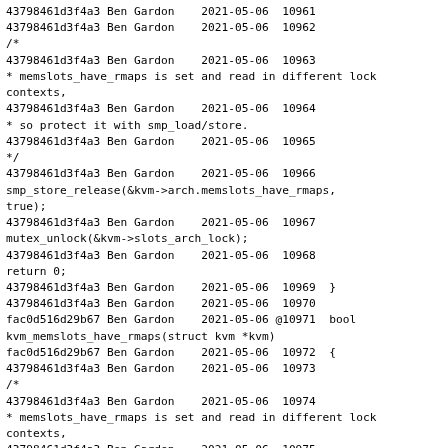43798461d3f4a3 Ben Gardon    2021-05-06  10961
43798461d3f4a3 Ben Gardon    2021-05-06  10962
/*
43798461d3f4a3 Ben Gardon    2021-05-06  10963
* memslots_have_rmaps is set and read in different lock contexts,
43798461d3f4a3 Ben Gardon    2021-05-06  10964
* so protect it with smp_load/store.
43798461d3f4a3 Ben Gardon    2021-05-06  10965
*/
43798461d3f4a3 Ben Gardon    2021-05-06  10966
smp_store_release(&kvm->arch.memslots_have_rmaps, true);
43798461d3f4a3 Ben Gardon    2021-05-06  10967
mutex_unlock(&kvm->slots_arch_lock);
43798461d3f4a3 Ben Gardon    2021-05-06  10968
return 0;
43798461d3f4a3 Ben Gardon    2021-05-06  10969  }
43798461d3f4a3 Ben Gardon    2021-05-06  10970
fac0d516d29b67 Ben Gardon    2021-05-06 @10971  bool kvm_memslots_have_rmaps(struct kvm *kvm)
fac0d516d29b67 Ben Gardon    2021-05-06  10972  {
43798461d3f4a3 Ben Gardon    2021-05-06  10973
/*
43798461d3f4a3 Ben Gardon    2021-05-06  10974
* memslots_have_rmaps is set and read in different lock contexts,
43798461d3f4a3 Ben Gardon    2021-05-06  10975
* so protect it with smp_load/store.
43798461d3f4a3 Ben Gardon    2021-05-06  10976